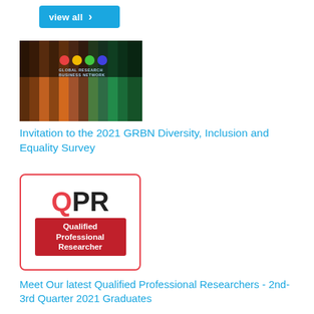[Figure (other): Blue 'view all' button with right arrow]
[Figure (photo): Cover image of the 2021 GRBN Diversity, Inclusion and Equality Survey report showing colourful pencils]
Invitation to the 2021 GRBN Diversity, Inclusion and Equality Survey
[Figure (logo): QPR Qualified Professional Researcher logo — red Q, black PR, red badge with white text]
Meet Our latest Qualified Professional Researchers - 2nd-3rd Quarter 2021 Graduates
Congratulations to our latest QPR accredited members Kristine Bui, Toni Cundy,  Brianna Fjeldsoe, Dr Natalie Herd, Carolyn Loton, Penny Moylan, Chris Stods and Kyle Taylor.